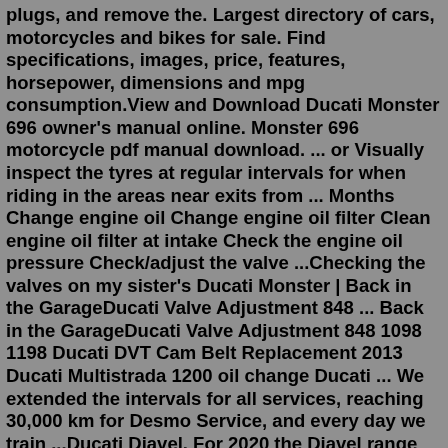plugs, and remove the. Largest directory of cars, motorcycles and bikes for sale. Find specifications, images, price, features, horsepower, dimensions and mpg consumption.View and Download Ducati Monster 696 owner's manual online. Monster 696 motorcycle pdf manual download. ... or Visually inspect the tyres at regular intervals for when riding in the areas near exits from ... Months Change engine oil Change engine oil filter Clean engine oil filter at intake Check the engine oil pressure Check/adjust the valve ...Checking the valves on my sister's Ducati Monster | Back in the GarageDucati Valve Adjustment 848 ... Back in the GarageDucati Valve Adjustment 848 1098 1198 Ducati DVT Cam Belt Replacement 2013 Ducati Multistrada 1200 oil change Ducati ... We extended the intervals for all services, reaching 30,000 km for Desmo Service, and every day we train ...Ducati Diavel. For 2020 the Diavel range consists of 4 models: Diavel 1260, Diavel 1260 S. as well as XDiavel models: XDiavel and XDiavel S. For the Model Year 2020. the colour range of the Diavel